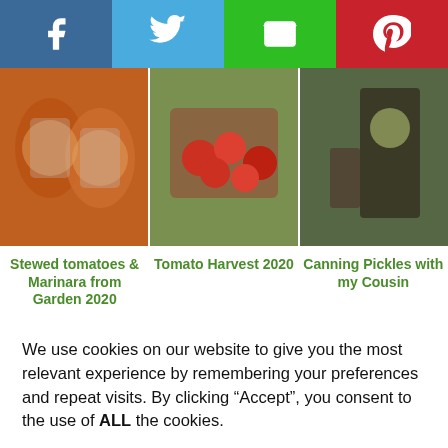[Figure (infographic): Social sharing buttons bar: Facebook (blue), Twitter (light blue), Email (green), Pinterest (red)]
[Figure (photo): Photo of canned jars of stewed tomatoes/marinara]
[Figure (photo): Photo of a box of harvested tomatoes]
[Figure (photo): Photo of woman canning pickles]
Stewed tomatoes & Marinara from Garden 2020
Tomato Harvest 2020
Canning Pickles with my Cousin
[Figure (photo): Photo of a garden with trees]
[Figure (photo): Photo of an olive or fruit tree]
[Figure (photo): Photo of bare winter trees]
We use cookies on our website to give you the most relevant experience by remembering your preferences and repeat visits. By clicking “Accept”, you consent to the use of ALL the cookies.
Cookie settings
ACCEPT